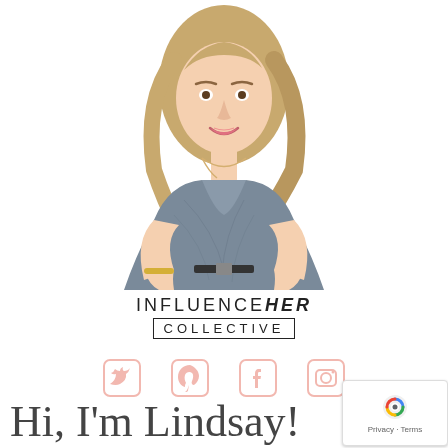[Figure (photo): A smiling woman with long blonde wavy hair wearing a gray sleeveless draped top and orange pendant necklace, posed against white background.]
[Figure (logo): InfluenceHER Collective logo: INFLUENCE in thin caps, HER in bold italic, COLLECTIVE in a bordered box with letter-spacing.]
[Figure (infographic): Four social media icons in light pink/salmon color: Twitter bird, Pinterest P, Facebook f, Instagram camera.]
Hi, I'm Lindsay!
[Figure (other): reCAPTCHA badge with Google logo and 'Privacy - Terms' text.]